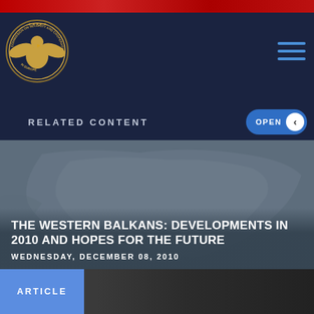[Figure (photo): Top banner with flags and red decorative bar]
[Figure (logo): Commission on Security and Cooperation in Europe seal/logo in gold on navy background]
RELATED CONTENT
[Figure (map): Greyed-out map of the Balkans/Southeast Europe region]
THE WESTERN BALKANS: DEVELOPMENTS IN 2010 AND HOPES FOR THE FUTURE
WEDNESDAY, DECEMBER 08, 2010
ARTICLE